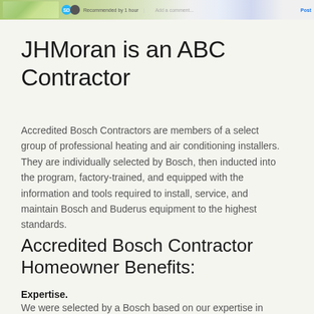[Figure (screenshot): Partial screenshot showing a map thumbnail on the left and a Facebook-style social bar with a thumbs-up icon, 'Recommended by 1 hour' text, and comment/post controls on the right.]
JHMoran is an ABC Contractor
Accredited Bosch Contractors are members of a select group of professional heating and air conditioning installers. They are individually selected by Bosch, then inducted into the program, factory-trained, and equipped with the information and tools required to install, service, and maintain Bosch and Buderus equipment to the highest standards.
Accredited Bosch Contractor Homeowner Benefits:
Expertise.
We were selected by a Bosch based on our expertise in sizing, installing, and servicing gas heating systems.